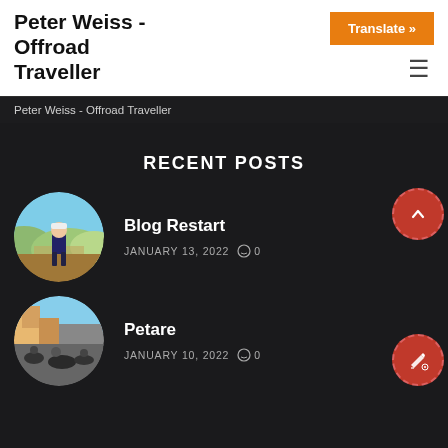Peter Weiss - Offroad Traveller
Translate »
Peter Weiss - Offroad Traveller
RECENT POSTS
[Figure (photo): Circular thumbnail photo of a man in a white cap and dark shirt standing on a hillside with a city valley in background]
Blog Restart
JANUARY 13, 2022  0
[Figure (photo): Circular thumbnail photo of motorcycles and people on a street scene]
Petare
JANUARY 10, 2022  0